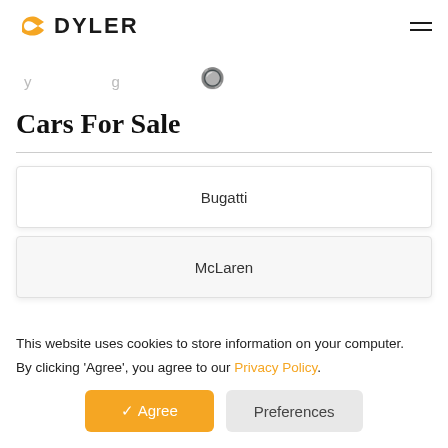DYLER
Cars For Sale
Bugatti
McLaren
This website uses cookies to store information on your computer. By clicking 'Agree', you agree to our Privacy Policy.
✓ Agree | Preferences